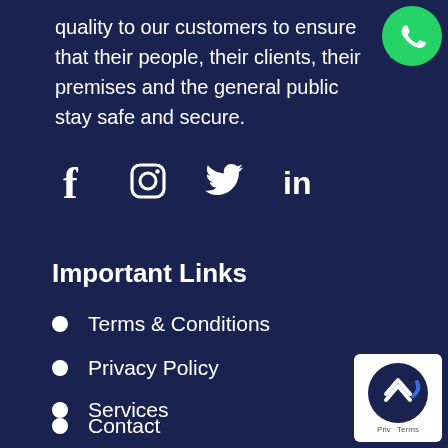quality to our customers to ensure that their people, their clients, their premises and the general public stay safe and secure.
[Figure (logo): WhatsApp green logo icon in top right corner]
[Figure (infographic): Social media icons: Facebook (f), Instagram, Twitter, LinkedIn (in)]
Important Links
Terms & Conditions
Privacy Policy
Services
Contact
[Figure (other): Back to top button with up-arrow chevrons, Privacy and Terms labels]